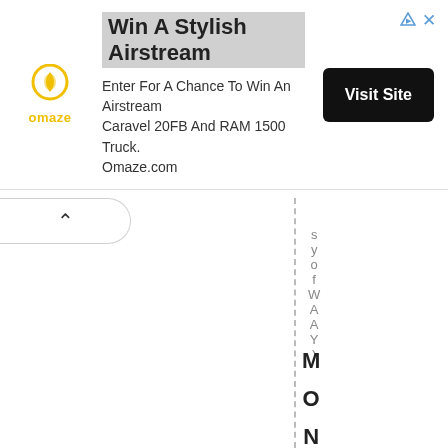[Figure (other): Omaze advertisement banner. Logo on left (yellow Omaze circle icon with 'omaze' text). Headline: 'Win A Stylish Airstream'. Body: 'Enter For A Chance To Win An Airstream Caravel 20FB And RAM 1500 Truck. Omaze.com'. Button on right: 'Visit Site'. Top right corner has blue triangle icon and X icon.]
[Figure (other): Browser back button (chevron up/caret) in rounded rectangle tab shape.]
s y o f W A A Y )
MONTGOMERY - Them